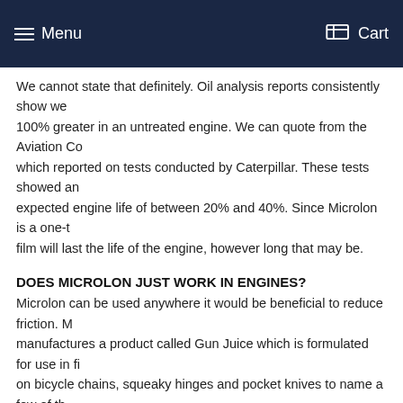Menu   Cart
We cannot state that definitely. Oil analysis reports consistently show we 100% greater in an untreated engine. We can quote from the Aviation Co which reported on tests conducted by Caterpillar. These tests showed an expected engine life of between 20% and 40%. Since Microlon is a one-t film will last the life of the engine, however long that may be.
DOES MICROLON JUST WORK IN ENGINES?
Microlon can be used anywhere it would be beneficial to reduce friction. M manufactures a product called Gun Juice which is formulated for use in fi on bicycle chains, squeaky hinges and pocket knives to name a few of th friction and preserve metal. Microlon should never be used anywhere fric automotive brake systems.
CAN I SPLIT A LARGE CONTAINER OF MICROLON TO TREAT SEVE
Yes. Just keep in mind, inexact measuring can result in an under treatme Microlon film from forming, or over treatment which could result in wasted suggests purchasing the recommended amount of product required to tre equipment. Microlon packages its products in sizes from 1 ounce conta